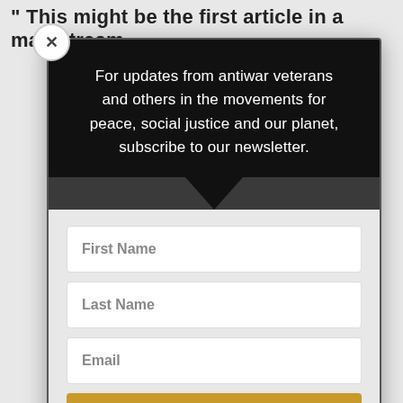" This might be the first article in a mainstream
For updates from antiwar veterans and others in the movements for peace, social justice and our planet, subscribe to our newsletter.
First Name
Last Name
Email
SUBSCRIBE!
We send our newsletters via MailChimp. Each one has an easy unsubscribe link.